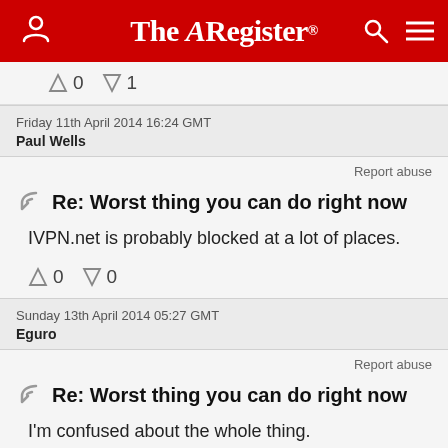The Register
↑0  ↓1
Friday 11th April 2014 16:24 GMT
Paul Wells
Report abuse
Re: Worst thing you can do right now
IVPN.net is probably blocked at a lot of places.
↑0  ↓0
Sunday 13th April 2014 05:27 GMT
Eguro
Report abuse
Re: Worst thing you can do right now
I'm confused about the whole thing.